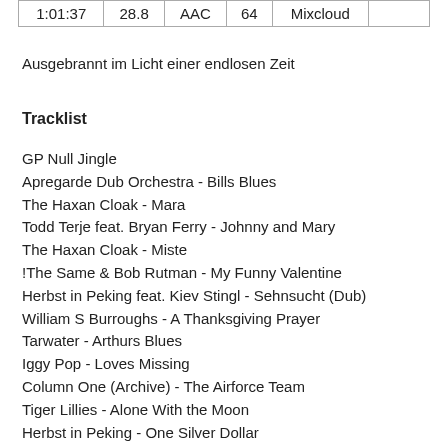| 1:01:37 | 28.8 | AAC | 64 | Mixcloud |  |
| --- | --- | --- | --- | --- | --- |
Ausgebrannt im Licht einer endlosen Zeit
Tracklist
GP Null Jingle
Apregarde Dub Orchestra - Bills Blues
The Haxan Cloak - Mara
Todd Terje feat. Bryan Ferry - Johnny and Mary
The Haxan Cloak - Miste
!The Same & Bob Rutman - My Funny Valentine
Herbst in Peking feat. Kiev Stingl - Sehnsucht (Dub)
William S Burroughs - A Thanksgiving Prayer
Tarwater - Arthurs Blues
Iggy Pop - Loves Missing
Column One (Archive) - The Airforce Team
Tiger Lillies - Alone With the Moon
Herbst in Peking - One Silver Dollar
!The Same & Lee Burial - I Am Lost